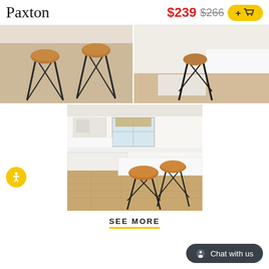Paxton
$239 $266 +cart
[Figure (photo): Two brown leather bar stools with black metal legs on a light tile floor, viewed from slightly above]
[Figure (photo): Close-up of black metal bar stool legs near a white kitchen island on hardwood floor]
[Figure (photo): Two Paxton bar stools at a white kitchen island in a bright white kitchen with hardwood floors]
SEE MORE